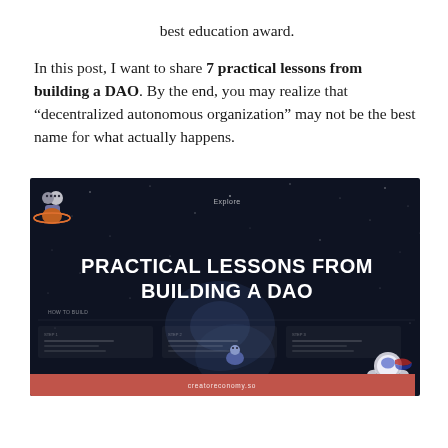best education award.
In this post, I want to share 7 practical lessons from building a DAO. By the end, you may realize that "decentralized autonomous organization" may not be the best name for what actually happens.
[Figure (screenshot): Screenshot of a dark-themed website with space/cosmos aesthetic. Top-left shows a cartoon character on a planet logo. Center navigation shows 'Explore'. Large bold white text reads 'PRACTICAL LESSONS FROM BUILDING A DAO'. Small UI elements and cards visible in background. Bottom-right shows an astronaut character. Bottom bar is salmon/red with text 'creatoreconomy.so'.]